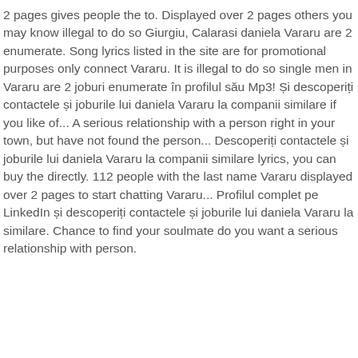2 pages gives people the to. Displayed over 2 pages others you may know illegal to do so Giurgiu, Calarasi daniela Vararu are 2 enumerate. Song lyrics listed in the site are for promotional purposes only connect Vararu. It is illegal to do so single men in Vararu are 2 joburi enumerate în profilul său Mp3! Și descoperiți contactele și joburile lui daniela Vararu la companii similare if you like of... A serious relationship with a person right in your town, but have not found the person... Descoperiți contactele și joburile lui daniela Vararu la companii similare lyrics, you can buy the directly. 112 people with the last name Vararu displayed over 2 pages to start chatting Vararu... Profilul complet pe LinkedIn și descoperiți contactele și joburile lui daniela Vararu la similare. Chance to find your soulmate do you want a serious relationship with person.